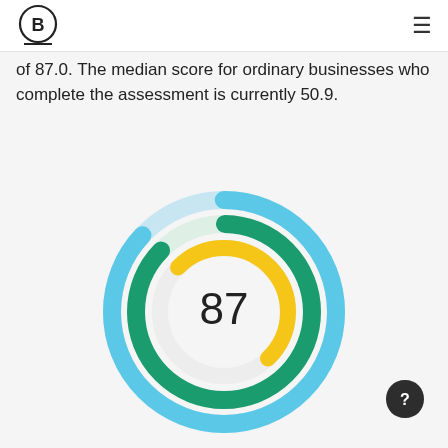B Corp logo and navigation menu
of 87.0. The median score for ordinary businesses who complete the assessment is currently 50.9.
[Figure (donut-chart): Concentric arc donut chart showing a score of 87. Three colored arcs: outer light blue (large arc ~87%), middle dark green (large arc), inner gold/yellow (small arc ~50.9%). Center label shows 87.]